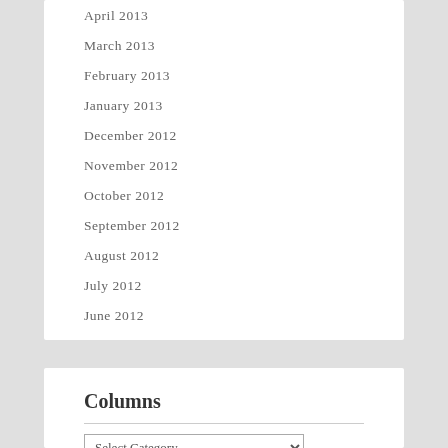April 2013
March 2013
February 2013
January 2013
December 2012
November 2012
October 2012
September 2012
August 2012
July 2012
June 2012
Columns